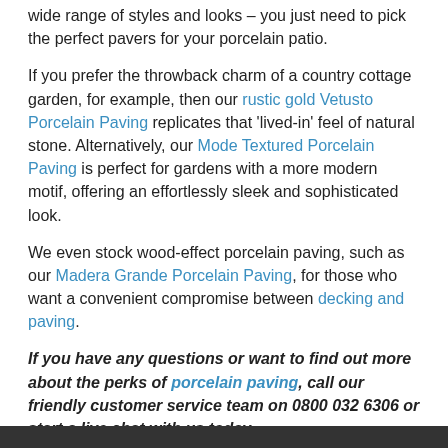wide range of styles and looks – you just need to pick the perfect pavers for your porcelain patio.
If you prefer the throwback charm of a country cottage garden, for example, then our rustic gold Vetusto Porcelain Paving replicates that 'lived-in' feel of natural stone. Alternatively, our Mode Textured Porcelain Paving is perfect for gardens with a more modern motif, offering an effortlessly sleek and sophisticated look.
We even stock wood-effect porcelain paving, such as our Madera Grande Porcelain Paving, for those who want a convenient compromise between decking and paving.
If you have any questions or want to find out more about the perks of porcelain paving, call our friendly customer service team on 0800 032 6306 or start a live chat with us today.